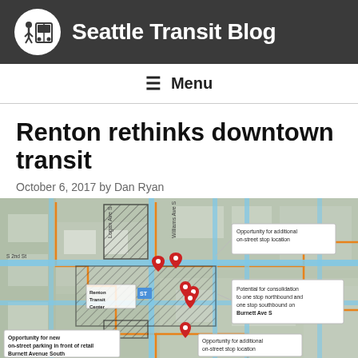Seattle Transit Blog
Menu
Renton rethinks downtown transit
October 6, 2017 by Dan Ryan
[Figure (map): Map of downtown Renton showing transit stop locations, Renton Transit Center, and proposed changes including opportunities for additional on-street stop locations, potential for consolidation to one stop northbound and one stop southbound on Burnett Ave S, opportunity for new on-street parking in front of retail Burnett Avenue South, and opportunity for additional on-street stop location.]